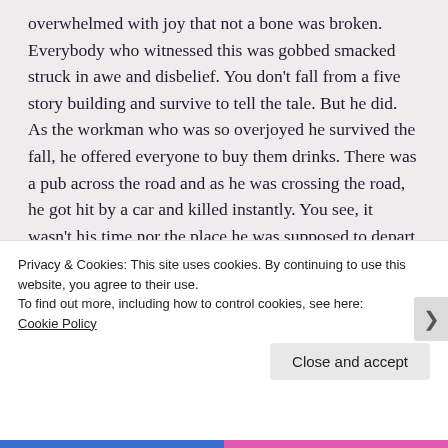overwhelmed with joy that not a bone was broken. Everybody who witnessed this was gobbed smacked struck in awe and disbelief. You don't fall from a five story building and survive to tell the tale. But he did. As the workman who was so overjoyed he survived the fall, he offered everyone to buy them drinks. There was a pub across the road and as he was crossing the road, he got hit by a car and killed instantly. You see, it wasn't his time nor the place he was supposed to depart this world, but it was there in the middle of the road at a particular time he was.
Privacy & Cookies: This site uses cookies. By continuing to use this website, you agree to their use.
To find out more, including how to control cookies, see here: Cookie Policy
Close and accept